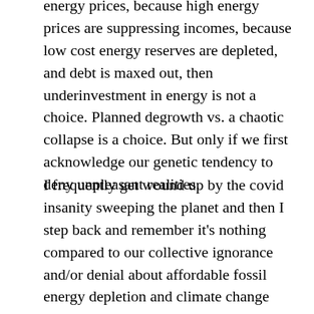energy prices, because high energy prices are suppressing incomes, because low cost energy reserves are depleted, and debt is maxed out, then underinvestment in energy is not a choice. Planned degrowth vs. a chaotic collapse is a choice. But only if we first acknowledge our genetic tendency to deny unpleasant realities.
I frequently get wound up by the covid insanity sweeping the planet and then I step back and remember it's nothing compared to our collective ignorance and/or denial about affordable fossil energy depletion and climate change which are serious, imminent, and real threats to everyone. We are not rational or wise about anything important. Why should covid be any different?